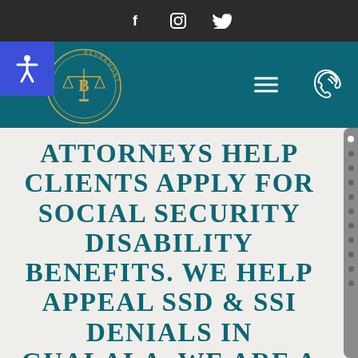f  ☐  🐦  (social media icons: Facebook, Instagram, Twitter)
[Figure (logo): Law firm logo with scales of justice and circular text reading BEVERMONT, with letter B in center]
ATTORNEYS HELP CLIENTS APPLY FOR SOCIAL SECURITY DISABILITY BENEFITS. WE HELP APPEAL SSD & SSI DENIALS IN GUALALA. WE ARE A FAMILY OF ATTORNEYS WITH OUR LAW PRACTICE CENTERED ON